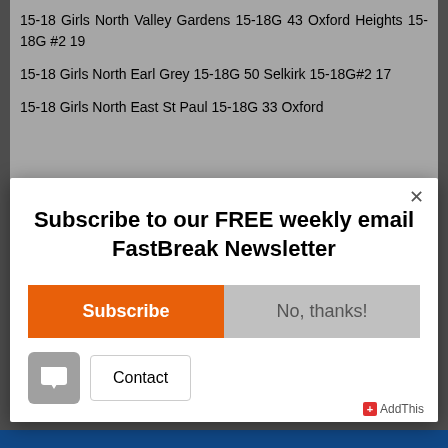15-18 Girls North Valley Gardens 15-18G 43 Oxford Heights 15-18G #2 19
15-18 Girls North Earl Grey 15-18G 50 Selkirk 15-18G#2 17
15-18 Girls North East St Paul 15-18G 33 Oxford
[Figure (screenshot): Modal popup dialog with close button, newsletter subscription prompt, Subscribe and No thanks buttons, Contact button, chat widget button, and AddThis badge]
Subscribe to our FREE weekly email FastBreak Newsletter